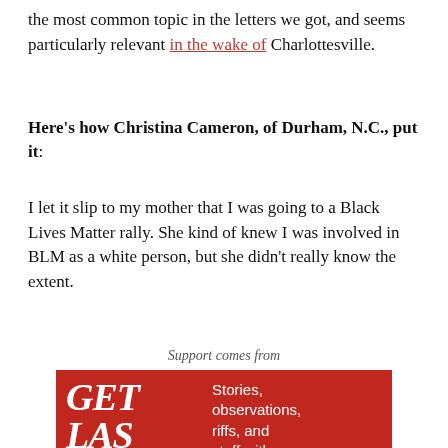the most common topic in the letters we got, and seems particularly relevant in the wake of Charlottesville.
Here's how Christina Cameron, of Durham, N.C., put it:
I let it slip to my mother that I was going to a Black Lives Matter rally. She kind of knew I was involved in BLM as a white person, but she didn't really know the extent.
Support comes from
[Figure (advertisement): Red advertisement box for 'Get Las Veg...' with white bold italic text on the left and white body text on the right reading 'Stories, observations, riffs, and stuff with a decidedly']